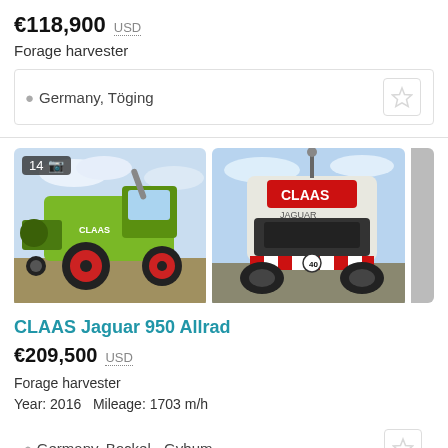€118,900  USD
Forage harvester
Germany, Töging
[Figure (photo): CLAAS forage harvester side view, green machine with red wheels, outdoor setting]
[Figure (photo): CLAAS Jaguar forage harvester rear view with red/white striped safety markings]
CLAAS Jaguar 950 Allrad
€209,500  USD
Forage harvester
Year: 2016   Mileage: 1703 m/h
Germany, Bockel - Gyhum